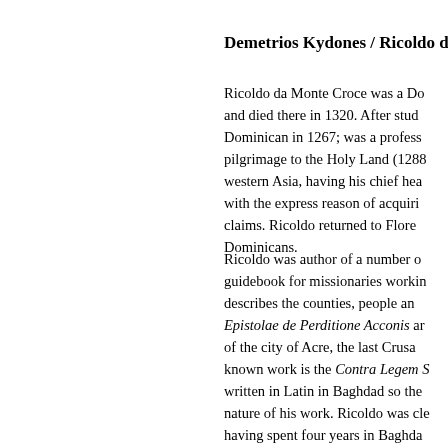Demetrios Kydones / Ricoldo da M
Ricoldo da Monte Croce was a Do and died there in 1320. After stud Dominican in 1267; was a profess pilgrimage to the Holy Land (1288 western Asia, having his chief hea with the express reason of acquiri claims. Ricoldo returned to Flore Dominicans.
Ricoldo was author of a number guidebook for missionaries workin describes the counties, people an Epistolae de Perditione Acconis ar of the city of Acre, the last Crusa known work is the Contra Legem S written in Latin in Baghdad so the nature of his work. Ricoldo was cle having spent four years in Baghda was not impressed with what he Muhammad that were worth criticiz